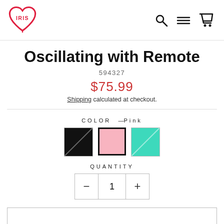IRIS logo, search, navigation, and cart icons
Oscillating with Remote
594327
$75.99
Shipping calculated at checkout.
COLOR — Pink
[Figure (other): Three color swatches: Black (with diagonal stripe), Pink (selected, with bold border), Teal (with diagonal stripe)]
QUANTITY
- 1 +